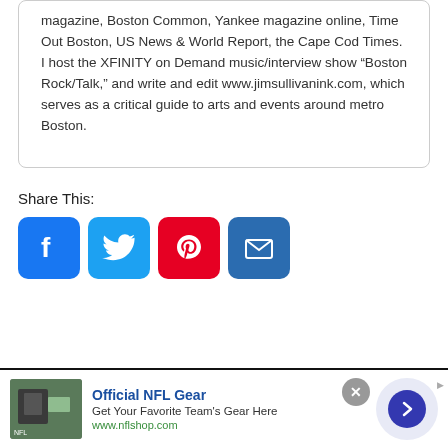magazine, Boston Common, Yankee magazine online, Time Out Boston, US News & World Report, the Cape Cod Times. I host the XFINITY on Demand music/interview show "Boston Rock/Talk," and write and edit www.jimsullivanink.com, which serves as a critical guide to arts and events around metro Boston.
Share This:
[Figure (infographic): Social sharing icons: Facebook (blue), Twitter (light blue), Pinterest (red), Email (dark blue)]
[Figure (infographic): Advertisement banner for Official NFL Gear. Shows NFL jacket image, text: 'Official NFL Gear', 'Get Your Favorite Team's Gear Here', 'www.nflshop.com'. Has close button and forward arrow navigation.]